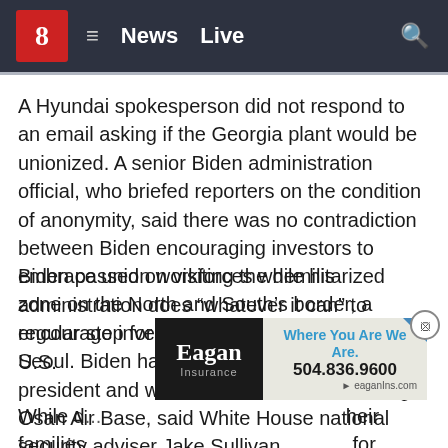8  ≡  News  Live
A Hyundai spokesperson did not respond to an email asking if the Georgia plant would be unionized. A senior Biden administration official, who briefed reporters on the condition of anonymity, said there was no contradiction between Biden encouraging investors to embrace union workforces while his administration does “whatever it can” to encourage investment and bring jobs to the U.S.
Biden passed on visiting the demilitarized zone on the North and South’s border, a regular stop for U.S. presidents when visiting Seoul. Biden had visited the DMZ as vice president and was more interested in seeing Osan Air Base, said White House national security adviser Jake Sullivan.
[Figure (other): Eagan Insurance advertisement banner: 'Where You Are We Are. 504.836.9600 eaganIns.com']
While d... their families... for